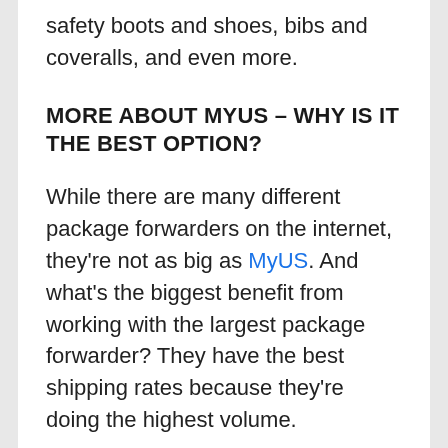safety boots and shoes, bibs and coveralls, and even more.
MORE ABOUT MYUS – WHY IS IT THE BEST OPTION?
While there are many different package forwarders on the internet, they're not as big as MyUS. And what's the biggest benefit from working with the largest package forwarder? They have the best shipping rates because they're doing the highest volume.
Whether you're looking to ship with FedEx, UPS, DHL, or any other international shipping provider, MyUS has you covered. On one screen, you can get real-time quotes for how much it'll